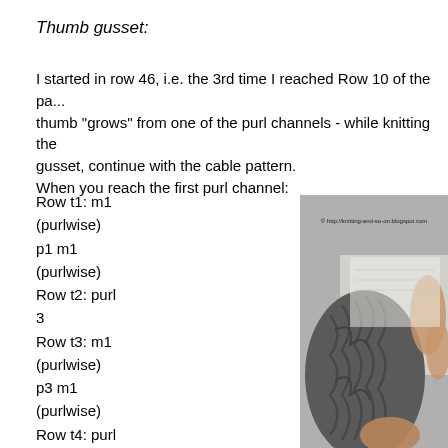Thumb gusset:
I started in row 46, i.e. the 3rd time I reached Row 10 of the pa... thumb "grows" from one of the purl channels - while knitting the gusset, continue with the cable pattern.
When you reach the first purl channel:
Row t1: m1 (purlwise) p1 m1 (purlwise)
Row t2: purl 3
Row t3: m1 (purlwise) p3 m1 (purlwise)
Row t4: purl 5
Row t5: m1 (purlwise)
[Figure (photo): Photo of a hand wearing a grey cable-knit fingerless glove/mitt, with a watermark '© http://knitting-and-so-on.blogspot.com']